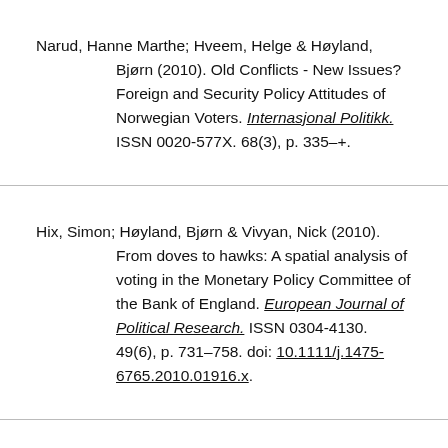Narud, Hanne Marthe; Hveem, Helge & Høyland, Bjørn (2010). Old Conflicts - New Issues? Foreign and Security Policy Attitudes of Norwegian Voters. Internasjonal Politikk. ISSN 0020-577X. 68(3), p. 335–+.
Hix, Simon; Høyland, Bjørn & Vivyan, Nick (2010). From doves to hawks: A spatial analysis of voting in the Monetary Policy Committee of the Bank of England. European Journal of Political Research. ISSN 0304-4130. 49(6), p. 731–758. doi: 10.1111/j.1475-6765.2010.01916.x.
Sircar, Indraneel & Høyland, Bjørn (2010). GET THE PARTY STARTED Development of Political Party Legislative Dynamics in the Irish Free State Seanad (1922-36). Party Politics. ISSN 1354-0688. 16(1).